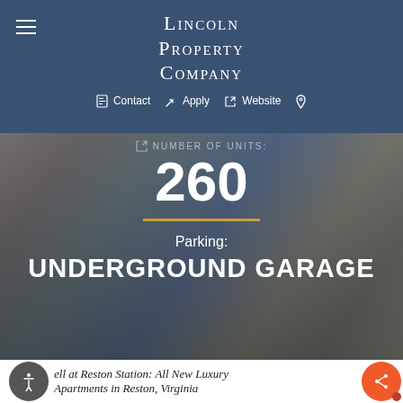Lincoln Property Company
Contact  Apply  Website
Number Of Units:
260
Parking:
UNDERGROUND GARAGE
ell at Reston Station: All New Luxury Apartments in Reston, Virginia